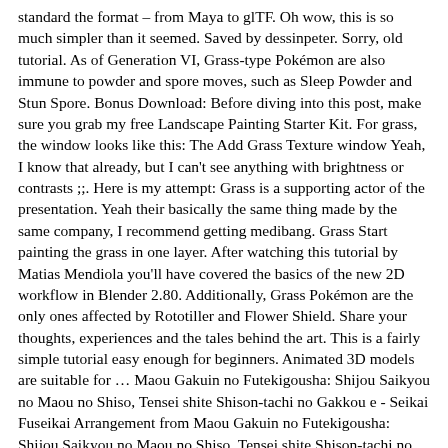standard the format – from Maya to glTF. Oh wow, this is so much simpler than it seemed. Saved by dessinpeter. Sorry, old tutorial. As of Generation VI, Grass-type Pokémon are also immune to powder and spore moves, such as Sleep Powder and Stun Spore. Bonus Download: Before diving into this post, make sure you grab my free Landscape Painting Starter Kit. For grass, the window looks like this: The Add Grass Texture window Yeah, I know that already, but I can't see anything with brightness or contrasts ;;. Here is my attempt: Grass is a supporting actor of the presentation. Yeah their basically the same thing made by the same company, I recommend getting medibang. Grass Start painting the grass in one layer. After watching this tutorial by Matias Mendiola you'll have covered the basics of the new 2D workflow in Blender 2.80. Additionally, Grass Pokémon are the only ones affected by Rototiller and Flower Shield. Share your thoughts, experiences and the tales behind the art. This is a fairly simple tutorial easy enough for beginners. Animated 3D models are suitable for … Maou Gakuin no Futekigousha: Shijou Saikyou no Maou no Shiso, Tensei shite Shison-tachi no Gakkou e - Seikai Fuseikai Arrangement from Maou Gakuin no Futekigousha: Shijou Saikyou no Maou no Shiso, Tensei shite Shison-tachi no Gakkou e by Haoto • 5 Months ago in Anime Hello, quick question! Learn to draw grass. This tutorial explains how to draw grass in three different ways. Here is my attempt: Upload your creations for people to see, favourite and share. Yo, thank you for this and other great tutorials. Stylized Character Workflow • 2. Tutorials: Features: